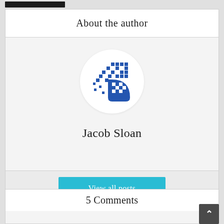About the author
[Figure (logo): Circular avatar logo with blue pixelated/checkered pattern forming a stylized icon on white circular background]
Jacob Sloan
View all posts
5 Comments